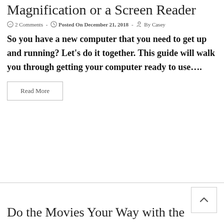Magnification or a Screen Reader
2 Comments  -  Posted On December 21, 2018  -  By Casey
So you have a new computer that you need to get up and running? Let’s do it together. This guide will walk you through getting your computer ready to use….
Read More
Do the Movies Your Way with the